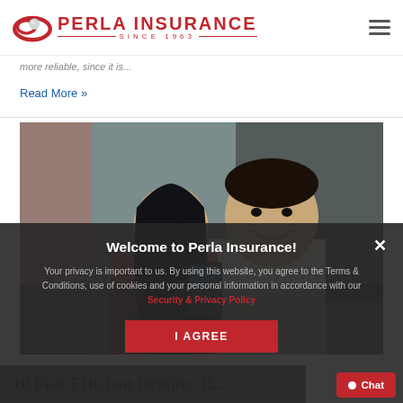Perla Insurance Since 1963
more reliable, since it is...
Read More »
[Figure (photo): Two young Asian people, a woman and a man, smiling and looking at a phone together indoors.]
Welcome to Perla Insurance!
Your privacy is important to us. By using this website, you agree to the Terms & Conditions, use of cookies and your personal information in accordance with our Security & Privacy Policy
I AGREE
10 Fuel Efficient Driving Ti...